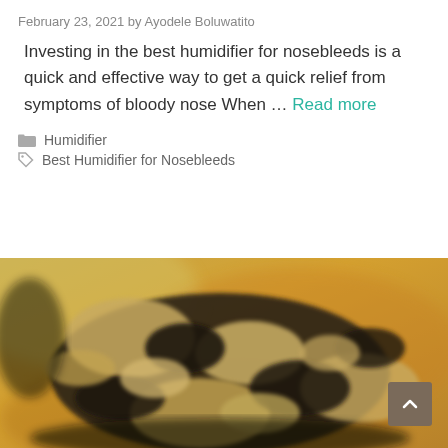February 23, 2021 by Ayodele Boluwatito
Investing in the best humidifier for nosebleeds is a quick and effective way to get a quick relief from symptoms of bloody nose When … Read more
Humidifier
Best Humidifier for Nosebleeds
[Figure (photo): Close-up photo of a coiled ball python snake with dark brown/black and tan/cream patterned scales, on an orange/amber blurred background.]